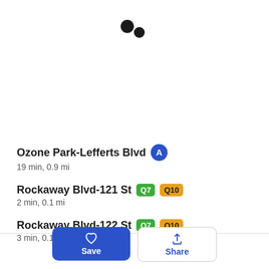[Figure (other): Two black loading dots (large and small) indicating a loading state]
Ozone Park-Lefferts Blvd [A] 19 min, 0.9 mi
Rockaway Blvd-121 St [Q7] [Q10] 2 min, 0.1 mi
Rockaway Blvd-122 St [Q7] [Q10] 3 min, 0.1 mi
[Figure (other): Save button (blue, heart icon) and Share button (white, share icon)]